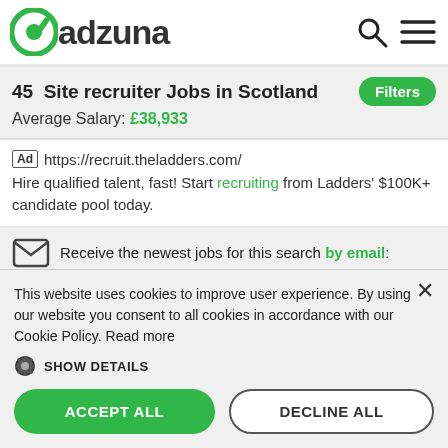adzuna
45 Site recruiter Jobs in Scotland
Average Salary: £38,933
Ad https://recruit.theladders.com/ Hire qualified talent, fast! Start recruiting from Ladders' $100K+ candidate pool today.
Receive the newest jobs for this search by email:
This website uses cookies to improve user experience. By using our website you consent to all cookies in accordance with our Cookie Policy. Read more
SHOW DETAILS
ACCEPT ALL
DECLINE ALL